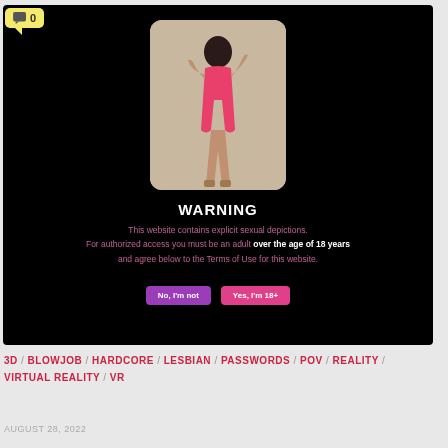[Figure (screenshot): Black warning overlay box on a website. Contains a photo of a woman in a pink swimsuit, a WARNING heading, warning text about adult content, and two buttons: 'No, I'm not' and 'Yes, I'm 18+']
3D / BLOWJOB / HARDCORE / LESBIAN / PASSWORDS / POV / REALITY / VIRTUAL REALITY / VR
AUGUST 28, 2022